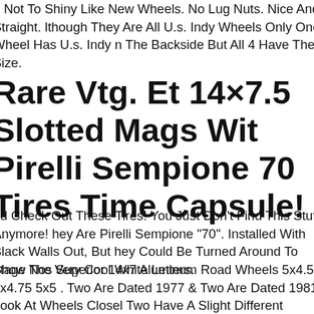d Not To Shiny Like New Wheels. No Lug Nuts. Nice And Straight. lthough They Are All U.s. Indy Wheels Only One Wheel Has U.s. Indy n The Backside But All 4 Have The Size.
Rare Vtg. Et 14×7.5 Slotted Mags With Pirelli Sempione 70 Tires Time Capsule!
nd Check Out These Tires! You Just Don't Find This Stuff Anymore! hey Are Pirelli Sempione "70". Installed With Black Walls Out, But hey Could Be Turned Around To Show The Very Cool White Letters.
ntage Nos Superior 14x7 Aluminum Road Wheels 5x4.5 5x4.75 5x5 . Two Are Dated 1977 & Two Are Dated 1981. Look At Wheels Closely. Two Have A Slight Different Machining Just Beyond Lugs. Wheel now Minor Shelf Wear. 45 Plus Years Old & Could Use A Good leaning & Polishing.